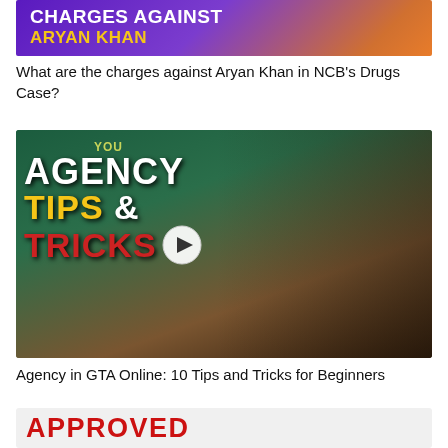[Figure (screenshot): Thumbnail image with purple/orange gradient background and text 'CHARGES AGAINST ARYAN KHAN' in white and yellow bold uppercase letters]
What are the charges against Aryan Khan in NCB's Drugs Case?
[Figure (screenshot): Video thumbnail showing animated character in suit with text 'AGENCY TIPS & TRICKS' in white, yellow, and red bold text with a play button overlay. GTA Online themed.]
Agency in GTA Online: 10 Tips and Tricks for Beginners
[Figure (screenshot): Partial thumbnail showing red bold uppercase text 'APPROVED']